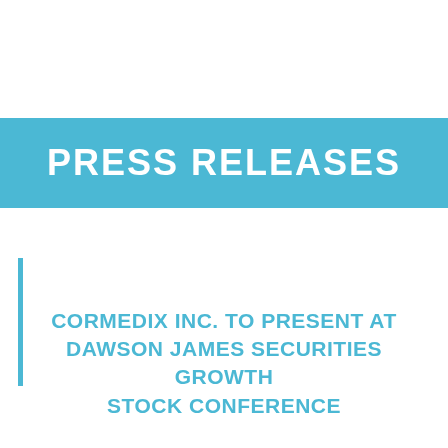PRESS RELEASES
CORMEDIX INC. TO PRESENT AT DAWSON JAMES SECURITIES GROWTH STOCK CONFERENCE